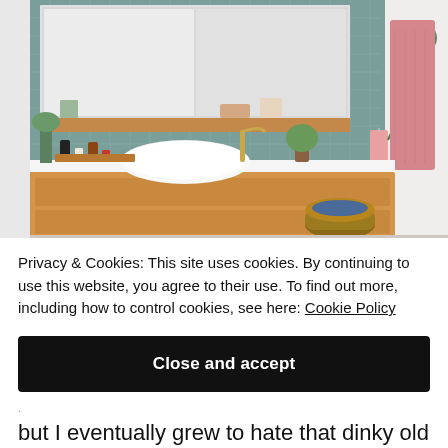[Figure (photo): A modern bathroom with a floating wooden vanity, white vessel sink, brass tap, teal/green subway tiles on the wall, a large mirror cabinet, hanging plant, pink towels on wall hooks, and a wicker basket with blue towels on the floor.]
Privacy & Cookies: This site uses cookies. By continuing to use this website, you agree to their use. To find out more, including how to control cookies, see here: Cookie Policy
Close and accept
but I eventually grew to hate that dinky old